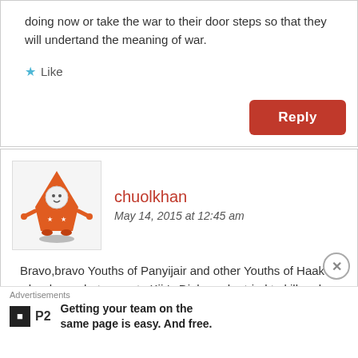doing now or take the war to their door steps so that they will undertand the meaning of war.
★ Like
Reply
chuolkhan
May 14, 2015 at 12:45 am
[Figure (illustration): Cartoon avatar of an orange rocket/alien character with arms outstretched]
Bravo,bravo Youths of Panyijair and other Youths of Haak who done what every to Kiir's Dinkas who tried to kill and destroyed
Advertisements
P2  Getting your team on the same page is easy. And free.